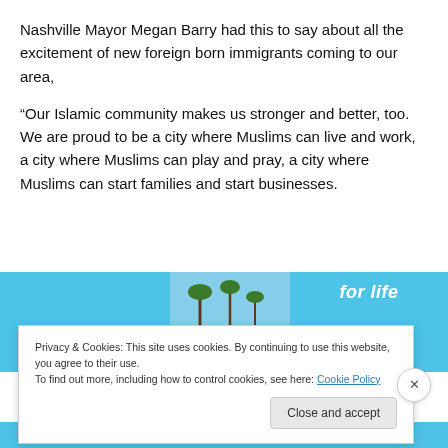Nashville Mayor Megan Barry had this to say about all the excitement of new foreign born immigrants coming to our area,
“Our Islamic community makes us stronger and better, too. We are proud to be a city where Muslims can live and work, a city where Muslims can play and pray, a city where Muslims can start families and start businesses.
[Figure (screenshot): Advertisement banner with blue background and a photo of palm trees, showing text 'for life' and the number 05]
Privacy & Cookies: This site uses cookies. By continuing to use this website, you agree to their use.
To find out more, including how to control cookies, see here: Cookie Policy
Close and accept